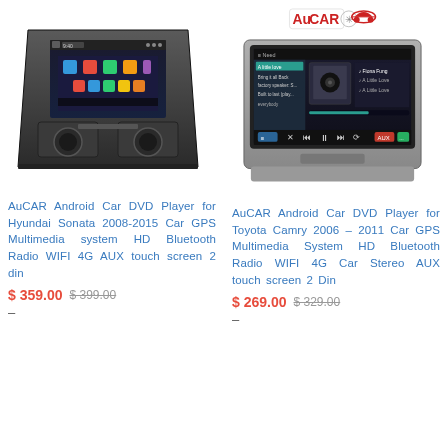[Figure (photo): AuCAR Android car DVD player unit for Hyundai Sonata, showing black touchscreen head unit with Android interface]
[Figure (photo): AuCAR Android car DVD player unit for Toyota Camry, showing silver-framed touchscreen head unit with Android interface and AuCAR logo above]
AuCAR Android Car DVD Player for Hyundai Sonata 2008-2015 Car GPS Multimedia system HD Bluetooth Radio WIFI 4G AUX touch screen 2 din
$ 359.00  $ 399.00
–
AuCAR Android Car DVD Player for Toyota Camry 2006 – 2011 Car GPS Multimedia System HD Bluetooth Radio WIFI 4G Car Stereo AUX touch screen 2 Din
$ 269.00  $ 329.00
–